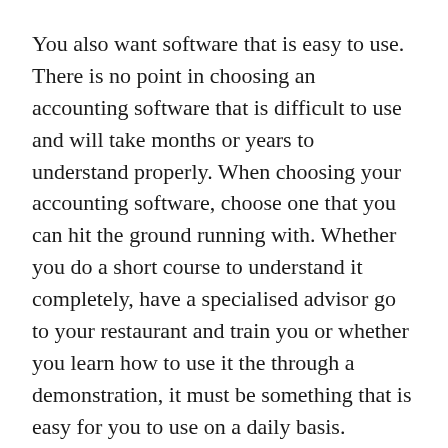You also want software that is easy to use. There is no point in choosing an accounting software that is difficult to use and will take months or years to understand properly. When choosing your accounting software, choose one that you can hit the ground running with. Whether you do a short course to understand it completely, have a specialised advisor go to your restaurant and train you or whether you learn how to use it the through a demonstration, it must be something that is easy for you to use on a daily basis.
Having software that is able to be accessed anywhere at any time is also important. Having online access to your accounts means that you can check on your account when it is convenient for you. Whether you’re on your smartphone after you get home from work or whether you’re on a laptop in the kitchen, having an online accounting software will help make your life a lot easier.